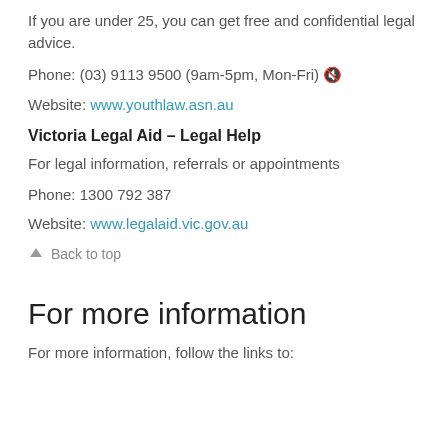If you are under 25, you can get free and confidential legal advice.
Phone: (03) 9113 9500 (9am-5pm, Mon-Fri) 🔇
Website: www.youthlaw.asn.au
Victoria Legal Aid – Legal Help
For legal information, referrals or appointments
Phone: 1300 792 387
Website: www.legalaid.vic.gov.au
↑ Back to top
For more information
For more information, follow the links to: